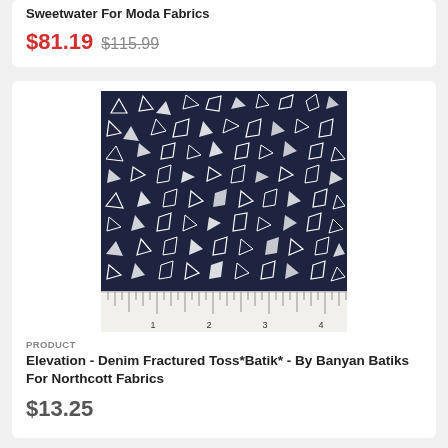Sweetwater For Moda Fabrics
$81.19  $115.99
[Figure (photo): Dark navy/denim blue batik fabric with white fractured geometric triangle and diamond shapes scattered across the surface, shown with a ruler at the bottom measuring inches 1 through 8.]
PRODUCT
Elevation - Denim Fractured Toss*Batik* - By Banyan Batiks For Northcott Fabrics
$13.25